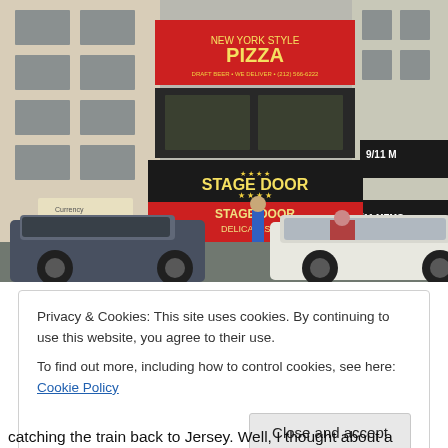[Figure (photo): Street-level photo of a New York City block showing 'Stage Door Delicatessen' with red signage and 'New York Style Pizza' above it. The 9/11 Memorial Museum sign is visible on the right. Cars are parked on the street in the foreground and pedestrians are visible on the sidewalk.]
Privacy & Cookies: This site uses cookies. By continuing to use this website, you agree to their use.
To find out more, including how to control cookies, see here: Cookie Policy
Close and accept
catching the train back to Jersey. Well, I thought about a